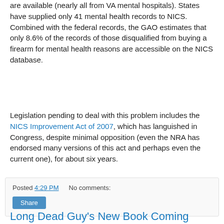are available (nearly all from VA mental hospitals). States have supplied only 41 mental health records to NICS. Combined with the federal records, the GAO estimates that only 8.6% of the records of those disqualified from buying a firearm for mental health reasons are accessible on the NICS database.
Legislation pending to deal with this problem includes the NICS Improvement Act of 2007, which has languished in Congress, despite minimal opposition (even the NRA has endorsed many versions of this act and perhaps even the current one), for about six years.
Posted 4:29 PM    No comments:    Share